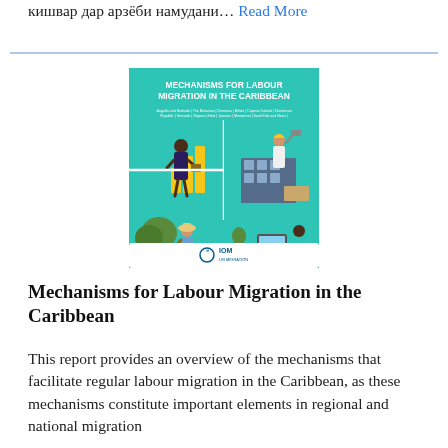кишвар дар арзёби намудани… Read More
[Figure (illustration): Book cover for 'Mechanisms for Labour Migration in the Caribbean' published by IOM UN Migration. Teal/turquoise cover with illustrated workers in various occupations connected by puzzle-piece shapes.]
Mechanisms for Labour Migration in the Caribbean
This report provides an overview of the mechanisms that facilitate regular labour migration in the Caribbean, as these mechanisms constitute important elements in regional and national migration